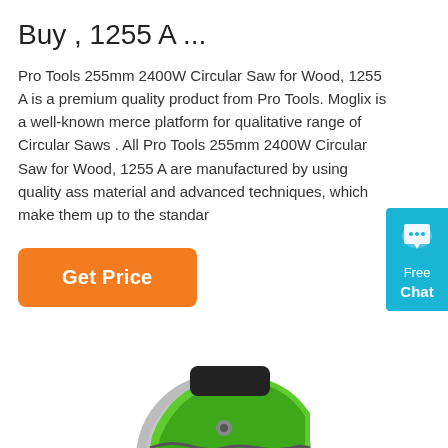Buy , 1255 A ...
Pro Tools 255mm 2400W Circular Saw for Wood, 1255 A is a premium quality product from Pro Tools. Moglix is a well-known merce platform for qualitative range of Circular Saws . All Pro Tools 255mm 2400W Circular Saw for Wood, 1255 A are manufactured by using quality ass material and advanced techniques, which make them up to the standar
[Figure (other): Orange 'Get Price' button]
[Figure (other): Blue chat widget with speech bubble icon, text 'Free Chat']
[Figure (photo): Partial view of a green and black circular saw at the bottom of the page]